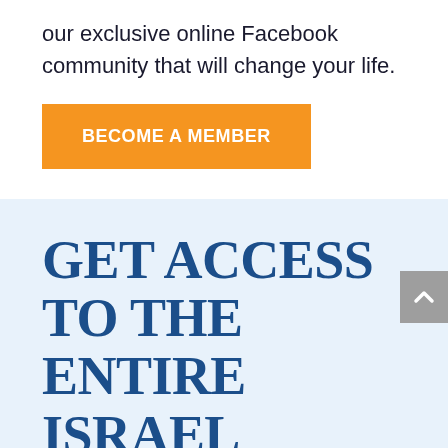our exclusive online Facebook community that will change your life.
BECOME A MEMBER
GET ACCESS TO THE ENTIRE ISRAEL BIBLE DIGITAL LIBRARY